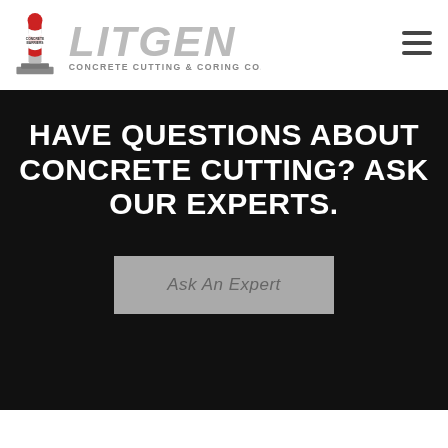[Figure (logo): Litgen Concrete Cutting & Coring Co. logo with a barber-pole style concrete marker icon and large stylized LITGEN text]
[Figure (other): Hamburger menu icon (three horizontal lines) in the top right corner]
HAVE QUESTIONS ABOUT CONCRETE CUTTING? ASK OUR EXPERTS.
Ask An Expert